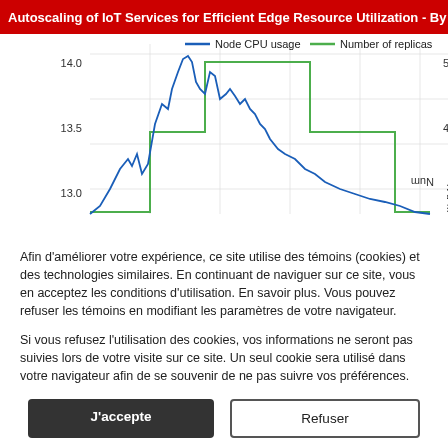Autoscaling of IoT Services for Efficient Edge Resource Utilization - By : Ahmed Bali, Mahm
[Figure (line-chart): Line chart showing Node CPU usage (blue) and Number of replicas (green step function). Y-axis left: 13.0 to 14.0. Y-axis right: Num (4 to 5). The blue line peaks around 14.0-14.5, the green step function shows steps at approximately 3, 4, and 5 replicas.]
Afin d’améliorer votre expérience, ce site utilise des témoins (cookies) et des technologies similaires. En continuant de naviguer sur ce site, vous en acceptez les conditions d’utilisation. En savoir plus. Vous pouvez refuser les témoins en modifiant les paramètres de votre navigateur.
Si vous refusez l’utilisation des cookies, vos informations ne seront pas suivies lors de votre visite sur ce site. Un seul cookie sera utilisé dans votre navigateur afin de se souvenir de ne pas suivre vos préférences.